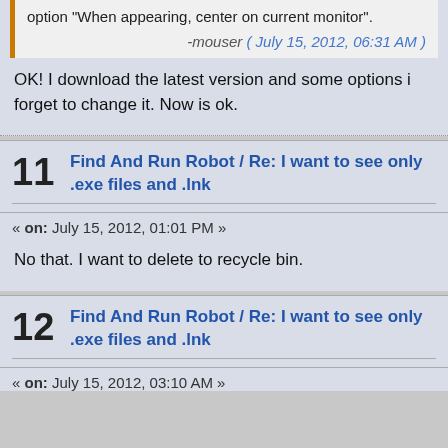option "When appearing, center on current monitor".
-mouser ( July 15, 2012, 06:31 AM )
OK! I download the latest version and some options i forget to change it. Now is ok.
11 Find And Run Robot / Re: I want to see only .exe files and .lnk
« on: July 15, 2012, 01:01 PM »
No that. I want to delete to recycle bin.
12 Find And Run Robot / Re: I want to see only .exe files and .lnk
« on: July 15, 2012, 03:10 AM »